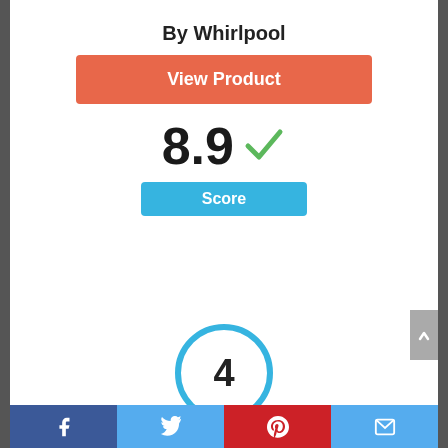By Whirlpool
[Figure (other): Orange 'View Product' button]
8.9 ✓
Score
[Figure (other): Blue circle with number 4 inside, representing rank #4]
[Figure (photo): Partial view of a Whirlpool product (appliance plug/connector)]
Facebook | Twitter | Pinterest | Mail